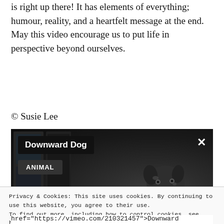is right up there! It has elements of everything; humour, reality, and a heartfelt message at the end. May this video encourage us to put life in perspective beyond ourselves.
© Susie Lee
[Figure (screenshot): A dark video thumbnail showing a dog looking forward, with overlay badges: 'Downward Dog' title badge in black, 'ANIMAL' category badge in dark grey, and an X close button in the top right corner.]
Privacy & Cookies: This site uses cookies. By continuing to use this website, you agree to their use.
To find out more, including how to control cookies, see here: Cookie Policy
Close and accept
href="https://vimeo.com/210321457">Downward